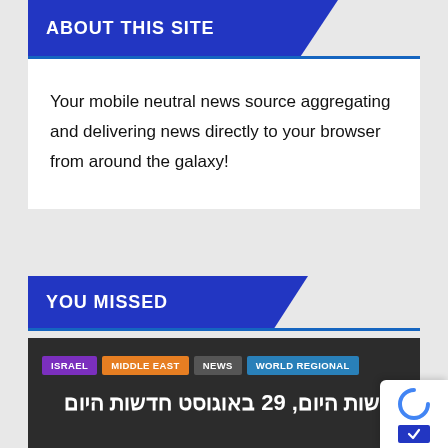ABOUT THIS SITE
Your mobile neutral news source aggregating and delivering news directly to your browser from around the galaxy!
YOU MISSED
ISRAEL  MIDDLE EAST  NEWS  WORLD REGIONAL
חדשות היום, 29 באוגוסט חדשות היום